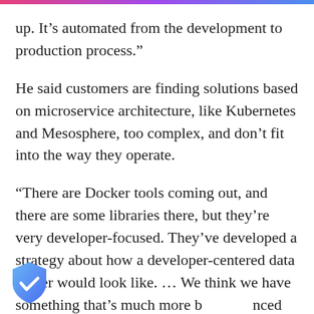up. It’s automated from the development to production process.”
He said customers are finding solutions based on microservice architecture, like Kubernetes and Mesosphere, too complex, and don’t fit into the way they operate.
“There are Docker tools coming out, and there are some libraries there, but they’re very developer-focused. They’ve developed a strategy about how a developer-centered data center would look like. … We think we have something that’s much more balanced and approaches the problem in a way that IT operations in and allows developers to use
[Figure (logo): Shield icon with a checkmark, blue gradient background]